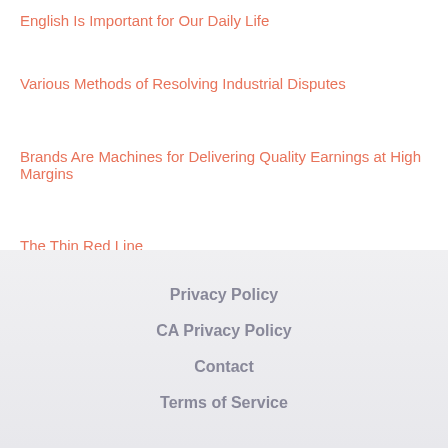English Is Important for Our Daily Life
Various Methods of Resolving Industrial Disputes
Brands Are Machines for Delivering Quality Earnings at High Margins
The Thin Red Line
Privacy Policy
CA Privacy Policy
Contact
Terms of Service